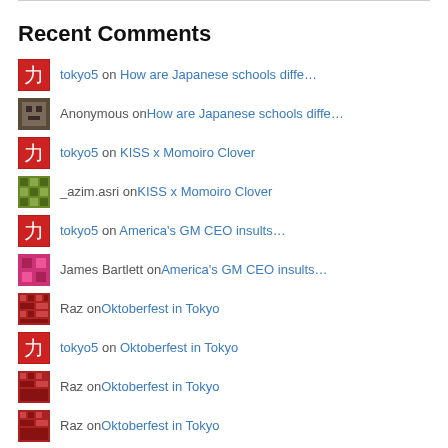Recent Comments
tokyo5 on How are Japanese schools diffe…
Anonymous on How are Japanese schools diffe…
tokyo5 on KISS x Momoiro Clover
_azim.asri on KISS x Momoiro Clover
tokyo5 on America's GM CEO insults…
James Bartlett on America's GM CEO insults…
Raz on Oktoberfest in Tokyo
tokyo5 on Oktoberfest in Tokyo
Raz on Oktoberfest in Tokyo
Raz on Oktoberfest in Tokyo
Earnest Mercer on Oktoberfest in Tokyo
Raz on Oktoberfest in Tokyo
tokyo5 on Oktoberfest in Tokyo
Razzle on Oktoberfest in Tokyo
tokyo5 on Tokyo Six? Tokyo Seven?